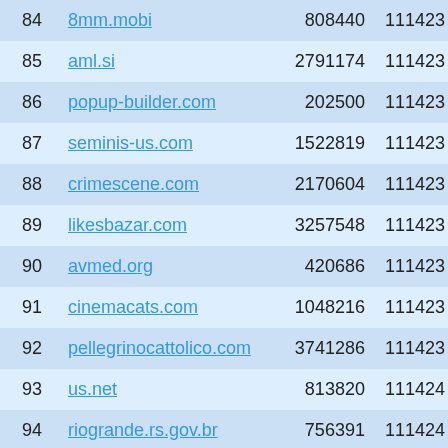| # | Domain | Col3 | Col4 |
| --- | --- | --- | --- |
| 84 | 8mm.mobi | 808440 | 111423 |
| 85 | aml.si | 2791174 | 111423 |
| 86 | popup-builder.com | 202500 | 111423 |
| 87 | seminis-us.com | 1522819 | 111423 |
| 88 | crimescene.com | 2170604 | 111423 |
| 89 | likesbazar.com | 3257548 | 111423 |
| 90 | avmed.org | 420686 | 111423 |
| 91 | cinemacats.com | 1048216 | 111423 |
| 92 | pellegrinocattolico.com | 3741286 | 111423 |
| 93 | us.net | 813820 | 111424 |
| 94 | riogrande.rs.gov.br | 756391 | 111424 |
| 95 | xinhai.org | 3724878 | 111424 |
| 96 | italian-language.biz | 3822383 | 111424 |
| 97 | briskfox.com | 3802181 | 111424 |
| 98 | ettal.de | 4149570 | 111424 |